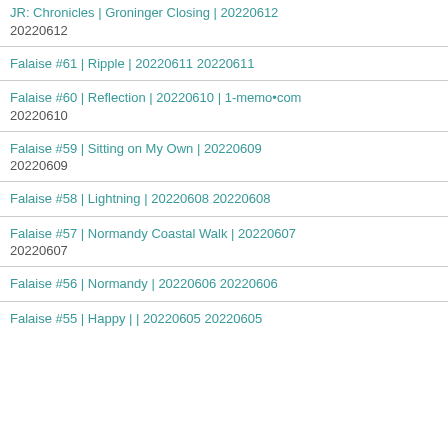JR: Chronicles | Groninger Closing | 20220612 20220612
Falaise #61 | Ripple | 20220611 20220611
Falaise #60 | Reflection | 20220610 | 1-memo•com 20220610
Falaise #59 | Sitting on My Own | 20220609 20220609
Falaise #58 | Lightning | 20220608 20220608
Falaise #57 | Normandy Coastal Walk | 20220607 20220607
Falaise #56 | Normandy | 20220606 20220606
Falaise #55 | Happy | | 20220605 20220605